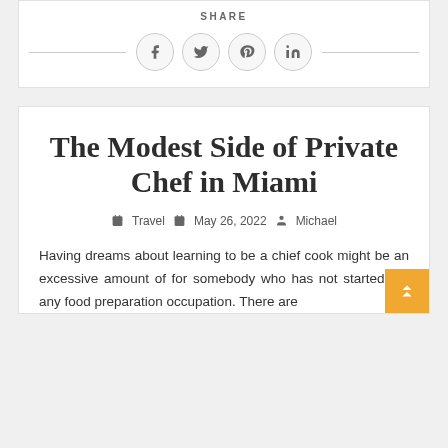[Figure (other): Social share bar with SHARE label and four circular icon buttons (Facebook, Twitter, Pinterest, LinkedIn) with horizontal lines on each side]
The Modest Side of Private Chef in Miami
Travel   May 26, 2022   Michael
Having dreams about learning to be a chief cook might be an excessive amount of for somebody who has not started out any food preparation occupation. There are